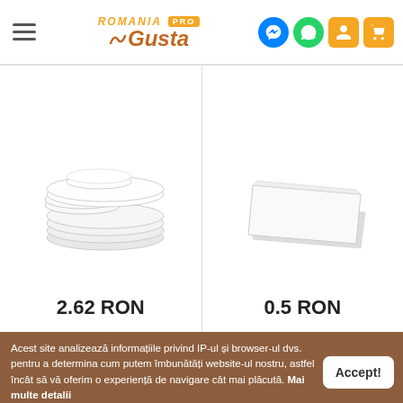Romania Gusta PRO - header with navigation icons
[Figure (photo): Stack of white circular paper/cardboard discs of various sizes]
[Figure (photo): White square flat cardboard/paper sheet]
2.62 RON
0.5 RON
Acest site analizează informațiile privind IP-ul și browser-ul dvs. pentru a determina cum putem îmbunătăți website-ul nostru, astfel încât să vă oferim o experiență de navigare cât mai plăcută. Mai multe detalii